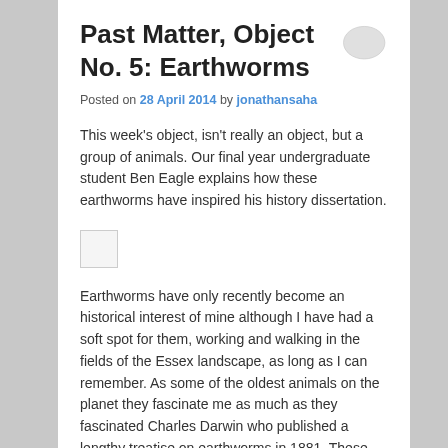Past Matter, Object No. 5: Earthworms
Posted on 28 April 2014 by jonathansaha
This week's object, isn't really an object, but a group of animals. Our final year undergraduate student Ben Eagle explains how these earthworms have inspired his history dissertation.
[Figure (other): Small placeholder image thumbnail]
Earthworms have only recently become an historical interest of mine although I have had a soft spot for them, working and walking in the fields of the Essex landscape, as long as I can remember. As some of the oldest animals on the planet they fascinate me as much as they fascinated Charles Darwin who published a lengthy treatise on earthworms in 1881. These particular worms, a